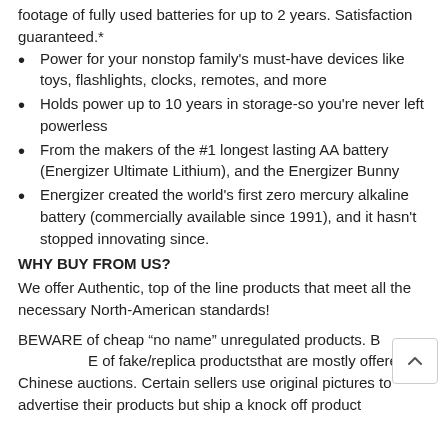footage of fully used batteries for up to 2 years. Satisfaction guaranteed.*
Power for your nonstop family's must-have devices like toys, flashlights, clocks, remotes, and more
Holds power up to 10 years in storage-so you're never left powerless
From the makers of the #1 longest lasting AA battery (Energizer Ultimate Lithium), and the Energizer Bunny
Energizer created the world's first zero mercury alkaline battery (commercially available since 1991), and it hasn't stopped innovating since.
WHY BUY FROM US?
We offer Authentic, top of the line products that meet all the necessary North-American standards!
BEWARE of cheap “no name” unregulated products. BEWARE of fake/replica productsthat are mostly offered on Chinese auctions. Certain sellers use original pictures to advertise their products but ship a knock off product